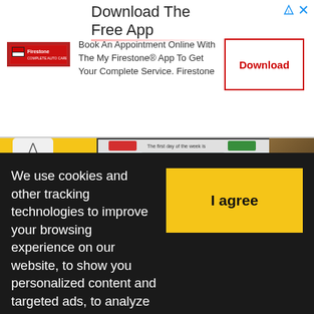[Figure (screenshot): Advertisement banner for Firestone app download with logo, descriptive text, and Download button]
[Figure (screenshot): Days of the Week Part 2 educational worksheet preview showing calendar interface with colored tiles and 'Sunday' text]
DAYS OF THE WEEK - PART 2
Level: elementary
[Figure (photo): Video overlay showing a close-up photo of a slow loris (wide-eyed small primate) with a play button in the center]
We use cookies and other tracking technologies to improve your browsing experience on our website, to show you personalized content and targeted ads, to analyze our website traffic, and to understand
I agree